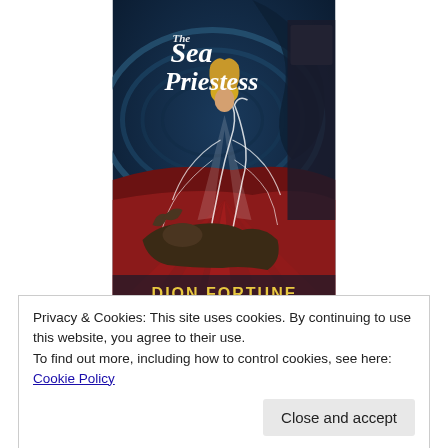[Figure (illustration): Book cover of 'The Sea Priestess' by Dion Fortune. Features a mystical scene with a robed woman with golden hair, swirling ocean waves in dark teal, a reclining lion figure, red drapery, and white flowing lines. Title text in white decorative font at top, author name 'DION FORTUNE' in bold yellow at bottom.]
Privacy & Cookies: This site uses cookies. By continuing to use this website, you agree to their use.
To find out more, including how to control cookies, see here: Cookie Policy
Close and accept